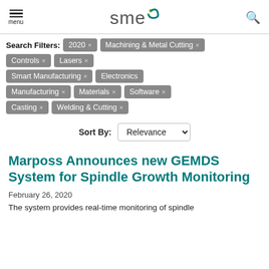menu | SME logo | search
Search Filters: 2020 × | Machining & Metal Cutting × | Controls × | Lasers × | Smart Manufacturing × | Electronics Manufacturing × | Materials × | Software × | Casting × | Welding & Cutting ×
Sort By: Relevance
Marposs Announces new GEMDS System for Spindle Growth Monitoring
February 26, 2020
The system provides real-time monitoring of spindle